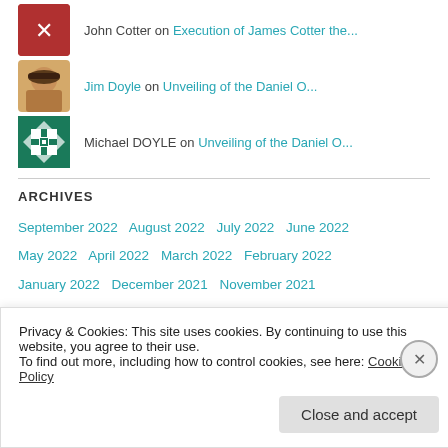John Cotter on Execution of James Cotter the...
Jim Doyle on Unveiling of the Daniel O...
Michael DOYLE on Unveiling of the Daniel O...
ARCHIVES
September 2022  August 2022  July 2022  June 2022  May 2022  April 2022  March 2022  February 2022  January 2022  December 2021  November 2021  October 2021  September 2021  August 2021  July 2021
Privacy & Cookies: This site uses cookies. By continuing to use this website, you agree to their use.
To find out more, including how to control cookies, see here: Cookie Policy
Close and accept